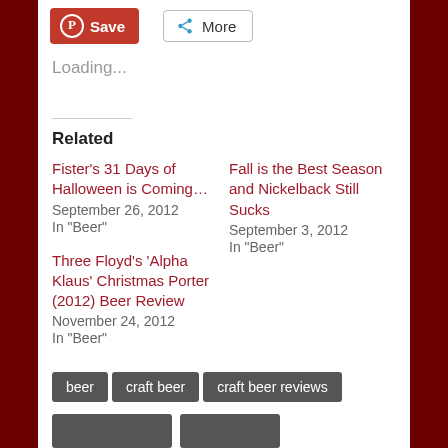[Figure (screenshot): Pinterest Save button (red) and More share button (outlined)]
Loading...
Related
Fister's 31 Days of Halloween is Coming…
September 26, 2012
In "Beer"
Fall is the Best Season and Nickelback Still Sucks
September 3, 2012
In "Beer"
Three Floyd's 'Alpha Klaus' Christmas Porter (2012) Beer Review
November 24, 2012
In "Beer"
beer
craft beer
craft beer reviews